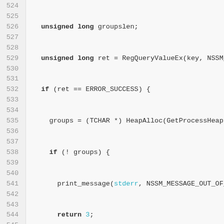[Figure (screenshot): Source code snippet showing C++ code lines 524–546 with syntax highlighting. Line numbers on left, code on right with keywords bold, string literals in red/blue.]